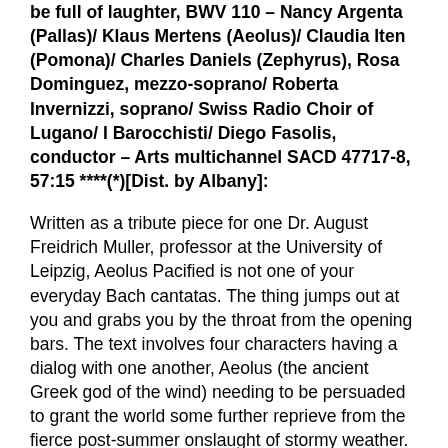be full of laughter, BWV 110 – Nancy Argenta (Pallas)/ Klaus Mertens (Aeolus)/ Claudia Iten (Pomona)/ Charles Daniels (Zephyrus), Rosa Dominguez, mezzo-soprano/ Roberta Invernizzi, soprano/ Swiss Radio Choir of Lugano/ I Barocchisti/ Diego Fasolis, conductor – Arts multichannel SACD 47717-8, 57:15 ****(*)​[Dist. by Albany]:
Written as a tribute piece for one Dr. August Freidrich Muller, professor at the University of Leipzig, Aeolus Pacified is not one of your everyday Bach cantatas. The thing jumps out at you and grabs you by the throat from the opening bars. The text involves four characters having a dialog with one another, Aeolus (the ancient Greek god of the wind) needing to be persuaded to grant the world some further reprieve from the fierce post-summer onslaught of stormy weather. Pomona, the goddess of gardens and